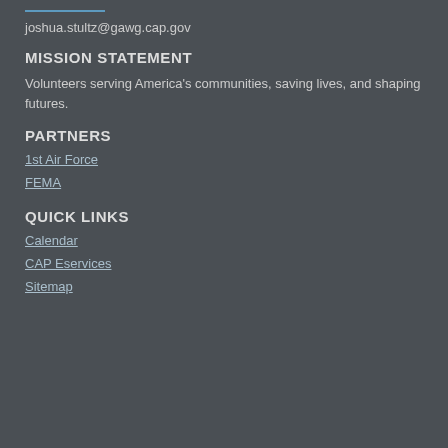joshua.stultz@gawg.cap.gov
MISSION STATEMENT
Volunteers serving America's communities, saving lives, and shaping futures.
PARTNERS
1st Air Force
FEMA
QUICK LINKS
Calendar
CAP Eservices
Sitemap